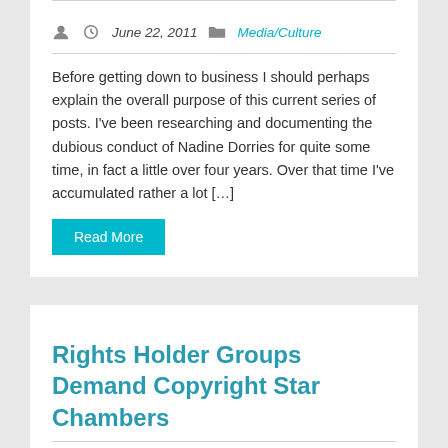Before getting down to business I should perhaps explain the overall purpose of this current series of posts. I've been researching and documenting the dubious conduct of Nadine Dorries for quite some time, in fact a little over four years. Over that time I've accumulated rather a lot [...]
Read More
Rights Holder Groups Demand Copyright Star Chambers
June 21, 2011   Media/Culture
Earlier today, the Open Rights Group reported that 'detailed website blocking proposals have been presented